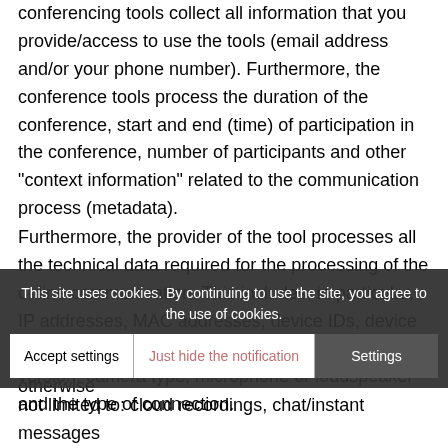conferencing tools collect all information that you provide/access to use the tools (email address and/or your phone number). Furthermore, the conference tools process the duration of the conference, start and end (time) of participation in the conference, number of participants and other “context information” related to the communication process (metadata).
Furthermore, the provider of the tool processes all the technical data required for the processing of the online communication. This includes, in particular, IP addresses, MAC addresses, device IDs, device type, operating system type and version, client version, camera type, microphone or loudspeaker and the type of connection.
Should content be exchanged, uploaded, or otherwise shared on the ... but is not limited to: cloud recordings, chat/instant messages
This site uses cookies. By continuing to use the site, you agree to the use of cookies.